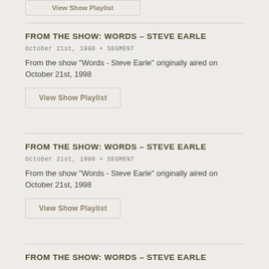View Show Playlist (partial, top)
FROM THE SHOW: WORDS – STEVE EARLE
October 21st, 1998 • SEGMENT
From the show "Words - Steve Earle" originally aired on October 21st, 1998
View Show Playlist
FROM THE SHOW: WORDS – STEVE EARLE
October 21st, 1998 • SEGMENT
From the show "Words - Steve Earle" originally aired on October 21st, 1998
View Show Playlist
FROM THE SHOW: WORDS – STEVE EARLE